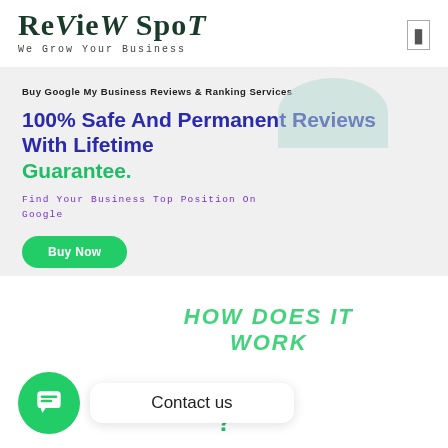ReVieW SpoT — We Grow Your Business
Buy Google My Business Reviews & Ranking Services
100% Safe And Permanent Reviews With Lifetime Guarantee.
Find Your Business Top Position On Google
Buy Now
HOW DOES IT WORK ?
[Figure (other): Chat contact us widget with green circle icon and speech bubble saying Contact us]